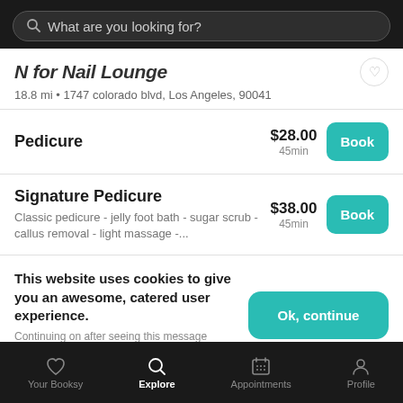What are you looking for?
N for Nail Lounge
18.8 mi • 1747 colorado blvd, Los Angeles, 90041
Pedicure
$28.00
45min
Signature Pedicure
Classic pedicure - jelly foot bath - sugar scrub - callus removal - light massage -...
$38.00
45min
This website uses cookies to give you an awesome, catered user experience.
Continuing on after seeing this message means that you're cool with that.
Your Booksy  Explore  Appointments  Profile